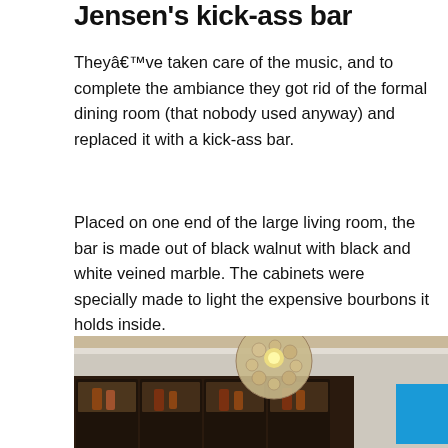Jensen's kick-ass bar
Theyâve taken care of the music, and to complete the ambiance they got rid of the formal dining room (that nobody used anyway) and replaced it with a kick-ass bar.
Placed on one end of the large living room, the bar is made out of black walnut with black and white veined marble. The cabinets were specially made to light the expensive bourbons it holds inside.
[Figure (photo): Interior photo showing a dark wood bar cabinet with lit shelves displaying bourbon bottles, and a large decorative globe pendant light with circular mosaic pattern hanging from a beamed ceiling.]